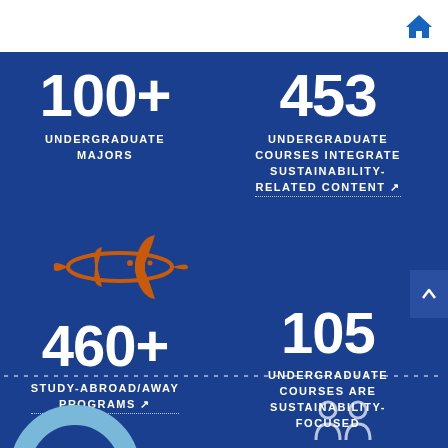[Figure (infographic): Home icon in top right corner, blue house symbol]
100+
UNDERGRADUATE MAJORS
453
UNDERGRADUATE COURSES INTEGRATE SUSTAINABILITY-RELATED CONTENT ↗
[Figure (illustration): Orange airplane icon facing forward]
460+
STUDY-ABROAD/AWAY PROGRAMS ↗
105
UNDERGRADUATE COURSES ARE SUSTAINABILITY-FOCUSED
[Figure (infographic): Dotted horizontal divider line]
[Figure (infographic): Partial pie chart and person icons at bottom]